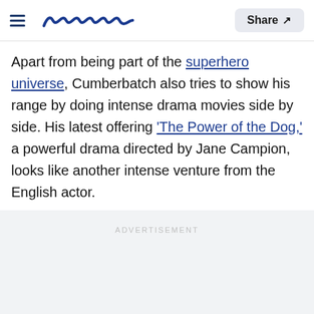Meaww | Share
Apart from being part of the superhero universe, Cumberbatch also tries to show his range by doing intense drama movies side by side. His latest offering 'The Power of the Dog,' a powerful drama directed by Jane Campion, looks like another intense venture from the English actor.
ADVERTISEMENT